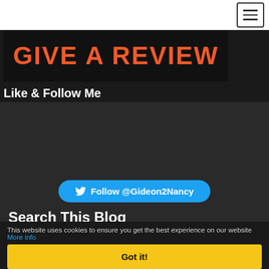[Figure (photo): Black banner image with bold orange text reading GIVE A REVIEW]
Like & Follow Me
[Figure (other): Social media follow button area with Twitter Follow @Gideon2Nancy button in cyan/blue rounded rectangle]
Search This Blog
This website uses cookies to ensure you get the best experience on our website More info
Got it!